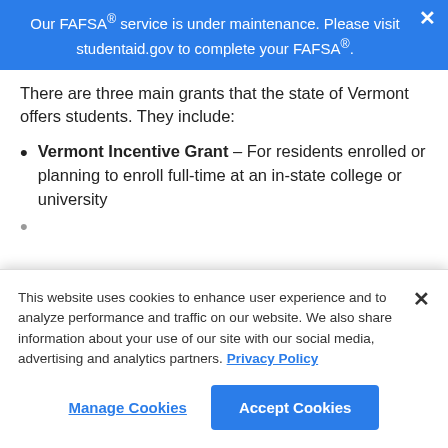Our FAFSA® service is under maintenance. Please visit studentaid.gov to complete your FAFSA®.
There are three main grants that the state of Vermont offers students. They include:
Vermont Incentive Grant – For residents enrolled or planning to enroll full-time at an in-state college or university
[Cookie notice overlay] This website uses cookies to enhance user experience and to analyze performance and traffic on our website. We also share information about your use of our site with our social media, advertising and analytics partners. Privacy Policy
Manage Cookies | Accept Cookies